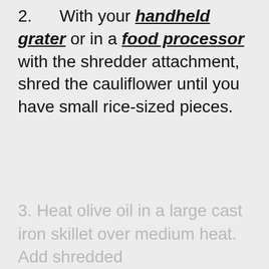2. With your handheld grater or in a food processor with the shredder attachment, shred the cauliflower until you have small rice-sized pieces.
3. Heat olive oil in a large cast iron skillet over medium heat. Add shredded